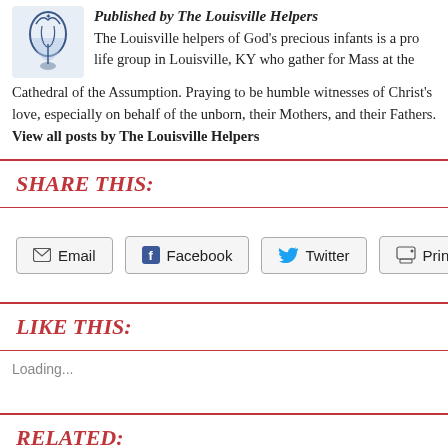Published by The Louisville Helpers. The Louisville helpers of God's precious infants is a pro life group in Louisville, KY who gather for Mass at the Cathedral of the Assumption. Praying to be humble witnesses of Christ's love, especially on behalf of the unborn, their Mothers, and their Fathers. View all posts by The Louisville Helpers
SHARE THIS:
Email  Facebook  Twitter  Print
LIKE THIS:
Loading...
RELATED: